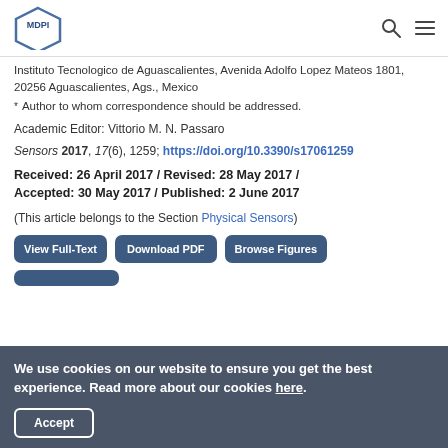MDPI
Instituto Tecnologico de Aguascalientes, Avenida Adolfo Lopez Mateos 1801, 20256 Aguascalientes, Ags., Mexico
* Author to whom correspondence should be addressed.
Academic Editor: Vittorio M. N. Passaro
Sensors 2017, 17(6), 1259; https://doi.org/10.3390/s17061259
Received: 26 April 2017 / Revised: 28 May 2017 / Accepted: 30 May 2017 / Published: 2 June 2017
(This article belongs to the Section Physical Sensors)
View Full-Text | Download PDF | Browse Figures
We use cookies on our website to ensure you get the best experience. Read more about our cookies here. Accept